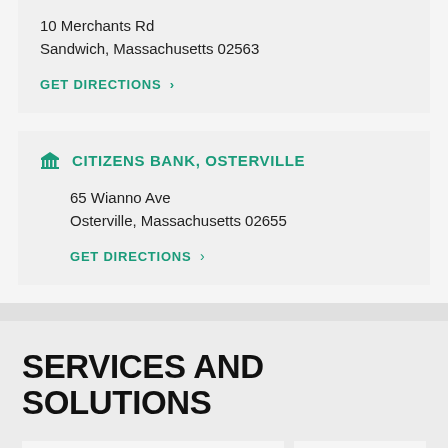10 Merchants Rd
Sandwich, Massachusetts 02563
GET DIRECTIONS >
CITIZENS BANK, OSTERVILLE
65 Wianno Ave
Osterville, Massachusetts 02655
GET DIRECTIONS >
SERVICES AND SOLUTIONS
Financial Planning
Insurance